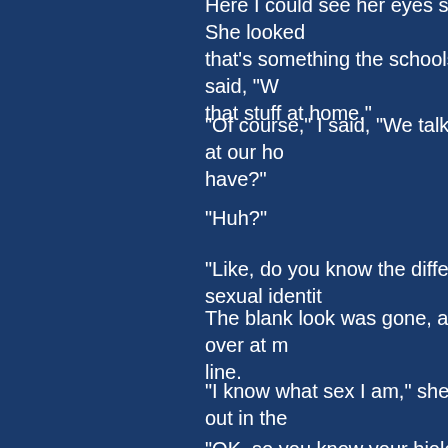Here I could see her eyes sort of grow blank. She looked-- that's something the schools need to teach," she said, "We don't teach that stuff at home."
"Of course," I said, "We talk about these things at our ho-- have?"
"Huh?"
"Like, do you know the difference between sexual identi--
The blank look was gone, at least. She looked over at m-- line.
"I know what sex I am," she said. "I figured that out in the--
"OK, so you know your biological sex. But you didn't ans-- what sexual identity is?"
"Sure I do," she sputtered. "It's what sex you, uh, identify--
"There's more to it than that. According to the curriculum-- out of your gender identity, which is how masculine or fe-- role, which is the kind of stuff that's expected of you as a-- sexual orientation -- whether you're straight, bi, or gay."
"Oh, OK," she said, softly.
We sat in silence. I read The Express over somebody's--